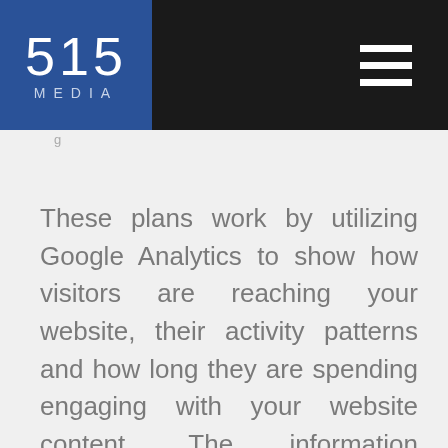[Figure (logo): 515 Media logo with blue background, white numerals '515' and text 'MEDIA' below]
g
These plans work by utilizing Google Analytics to show how visitors are reaching your website, their activity patterns and how long they are spending engaging with your website content. The information obtained in these analytics reports can be directly customized to help you build new calls to action and sales funnels. This information is invaluable in helping you customize your content that will bring in traffic targeted to convert sales. In other words, no more